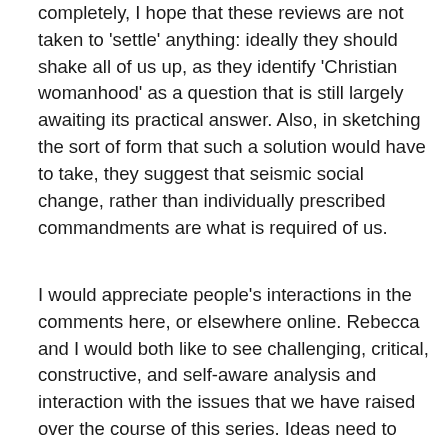completely, I hope that these reviews are not taken to 'settle' anything: ideally they should shake all of us up, as they identify 'Christian womanhood' as a question that is still largely awaiting its practical answer. Also, in sketching the sort of form that such a solution would have to take, they suggest that seismic social change, rather than individually prescribed commandments are what is required of us.
I would appreciate people's interactions in the comments here, or elsewhere online. Rebecca and I would both like to see challenging, critical, constructive, and self-aware analysis and interaction with the issues that we have raised over the course of this series. Ideas need to prove their mettle and be sharpened through disputation and ideological sparring, so we both particularly welcome